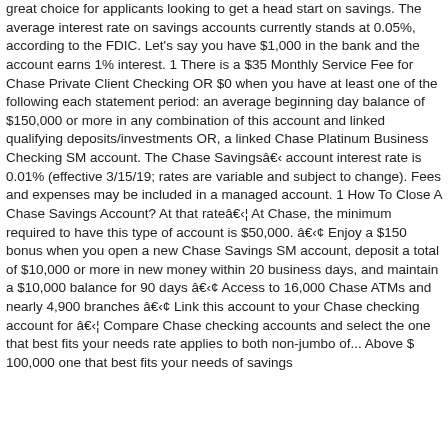great choice for applicants looking to get a head start on savings. The average interest rate on savings accounts currently stands at 0.05%, according to the FDIC. Let's say you have $1,000 in the bank and the account earns 1% interest. 1 There is a $35 Monthly Service Fee for Chase Private Client Checking OR $0 when you have at least one of the following each statement period: an average beginning day balance of $150,000 or more in any combination of this account and linked qualifying deposits/investments OR, a linked Chase Platinum Business Checking SM account. The Chase Savingsâ account interest rate is 0.01% (effective 3/15/19; rates are variable and subject to change). Fees and expenses may be included in a managed account. 1 How To Close A Chase Savings Account? At that rateâ¦ At Chase, the minimum required to have this type of account is $50,000. â¢ Enjoy a $150 bonus when you open a new Chase Savings SM account, deposit a total of $10,000 or more in new money within 20 business days, and maintain a $10,000 balance for 90 days â¢ Access to 16,000 Chase ATMs and nearly 4,900 branches â¢ Link this account to your Chase checking account for â¦ Compare Chase checking accounts and select the one that best fits your needs rate applies to both non-jumbo of... Above $ 100,000 one that best fits your needs of savings